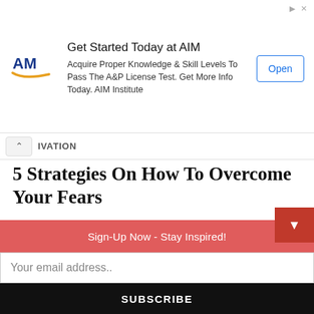[Figure (other): AIM Institute advertisement banner with logo, text 'Get Started Today at AIM', body text 'Acquire Proper Knowledge & Skill Levels To Pass The A&P License Test. Get More Info Today. AIM Institute', and Open button]
IVATION
5 Strategies On How To Overcome Your Fears
JULY 8, 2022   CHAYMAA
5 Strategies on how to overcome your fears. Fight your fear. Failure is part of the process. You will fail, and fear will not stop it.
Sign-Up Now - Stay Inspired!
Your email address..
SUBSCRIBE